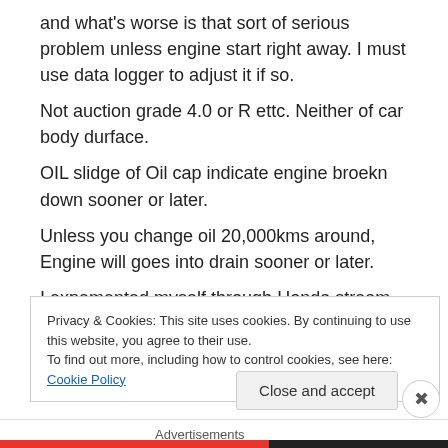and what's worse is that sort of serious problem unless engine start right away. I must use data logger to adjust it if so.
Not auction grade 4.0 or R ettc. Neither of car body durface.
OIL slidge of Oil cap indicate engine broekn down sooner or later.
Unless you change oil 20,000kms around, Engine will goes into drain sooner or later.
I expemented myself through Honda stream, The dpeed around 130,000kms around
Privacy & Cookies: This site uses cookies. By continuing to use this website, you agree to their use.
To find out more, including how to control cookies, see here: Cookie Policy
Close and accept
Advertisements